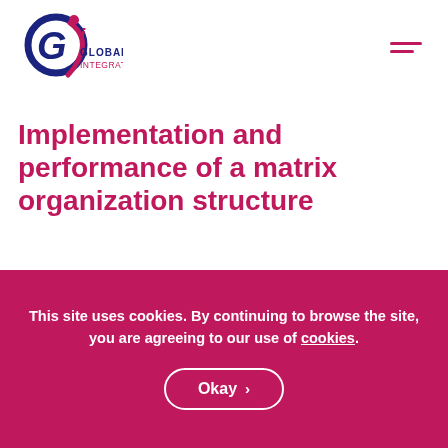[Figure (logo): Global Integration logo with circular G symbol in navy/magenta and text GLOBAL INTEGRATION with trademark symbol]
Implementation and performance of a matrix organization structure
As part of our ongoing Matrix Monday series, which aims to share some of the limited literature available on the
[Figure (photo): Small image placeholder followed by text: literature on matrix management, matrix structures]
This site uses cookies. By continuing to browse the site, you are agreeing to our use of cookies.
Okay >